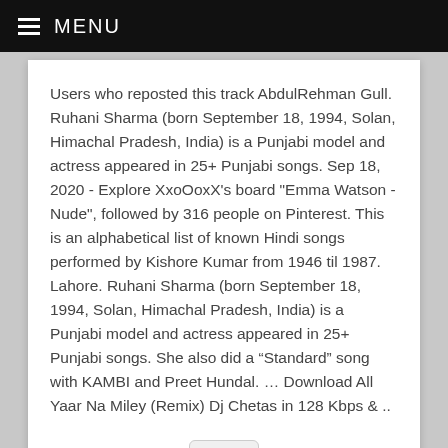MENU
Users who reposted this track AbdulRehman Gull. Ruhani Sharma (born September 18, 1994, Solan, Himachal Pradesh, India) is a Punjabi model and actress appeared in 25+ Punjabi songs. Sep 18, 2020 - Explore XxoOoxX's board "Emma Watson - Nude", followed by 316 people on Pinterest. This is an alphabetical list of known Hindi songs performed by Kishore Kumar from 1946 til 1987. Lahore. Ruhani Sharma (born September 18, 1994, Solan, Himachal Pradesh, India) is a Punjabi model and actress appeared in 25+ Punjabi songs. She also did a “Standard” song with KAMBI and Preet Hundal. … Download All Yaar Na Miley (Remix) Dj Chetas in 128 Kbps & ..
[Figure (other): Chevron/down arrow button]
iClou